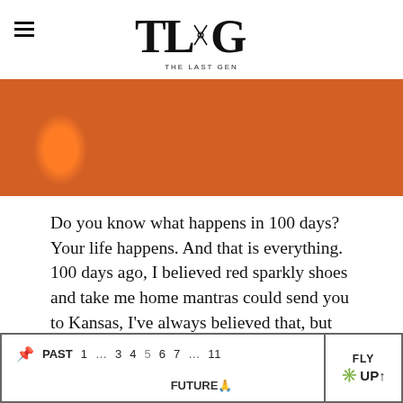THE LAST GEN
[Figure (photo): Banner photo of pumpkins and people at what appears to be a pumpkin patch or fall festival, with orange pumpkins prominently displayed.]
Do you know what happens in 100 days? Your life happens. And that is everything. 100 days ago, I believed red sparkly shoes and take me home mantras could send you to Kansas, I've always believed that, but there is no language that can vocalize what bubbles have floated down, melted away, and manifested. I am
MORE
PAST 1 ... 3 4 5 6 7 ... 11  FLY UP↑  FUTURE